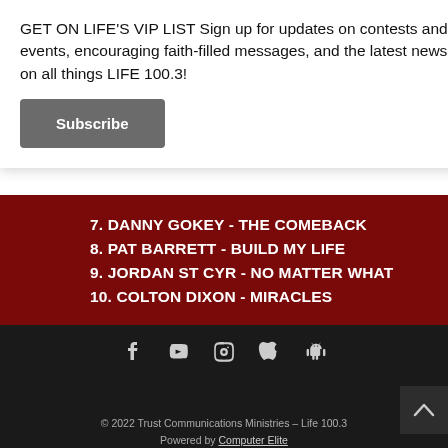GET ON LIFE'S VIP LIST Sign up for updates on contests and events, encouraging faith-filled messages, and the latest news on all things LIFE 100.3!
Subscribe
7. DANNY GOKEY - THE COMEBACK
8. PAT BARRETT - BUILD MY LIFE
9. JORDAN ST CYR - NO MATTER WHAT
10. COLTON DIXON - MIRACLES
[Figure (infographic): Social media and app icons: Facebook, YouTube, Instagram, Apple, Android]
© 2022 Trust Communications Ministries – Life 100.3
Powered by Computer Elite